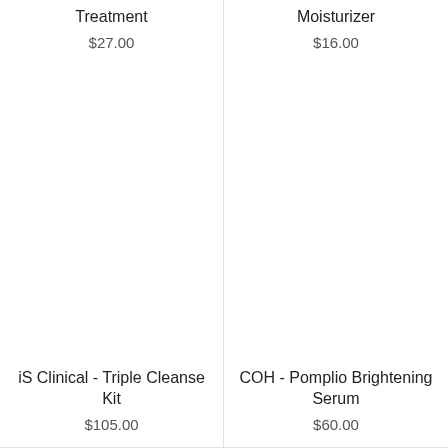Treatment
$27.00
Moisturizer
$16.00
iS Clinical - Triple Cleanse Kit
$105.00
COH - Pomplio Brightening Serum
$60.00